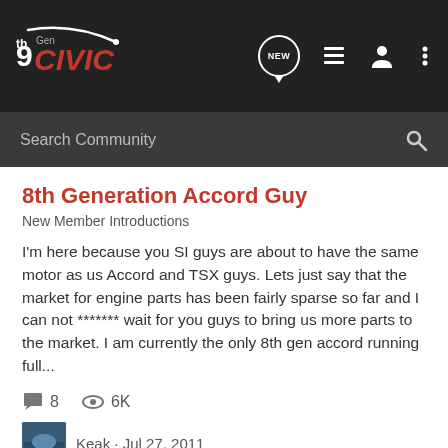9thGenCivic - NEW - list icon - user icon - more icon
Search Community
8th Generation Accord Guy
New Member Introductions
I'm here because you SI guys are about to have the same motor as us Accord and TSX guys. Lets just say that the market for engine parts has been fairly sparse so far and I can not ******* wait for you guys to bring us more parts to the market. I am currently the only 8th gen accord running full...
8  6K
Keak · Jul 27, 2011
8th  accord  generation  guy
Ricer pictures!!